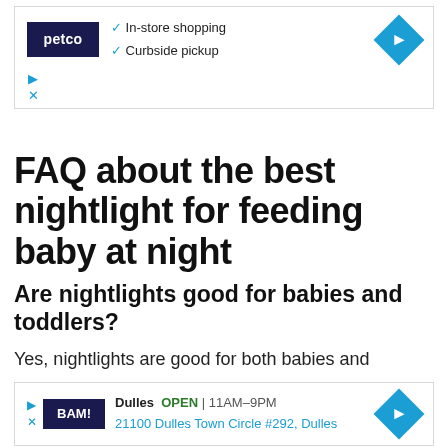[Figure (screenshot): Petco advertisement banner with logo, checkmarks for In-store shopping and Curbside pickup, and a blue navigation diamond arrow]
FAQ about the best nightlight for feeding baby at night
Are nightlights good for babies and toddlers?
Yes, nightlights are good for both babies and
[Figure (screenshot): BAM! Books-A-Million advertisement banner showing Dulles location, OPEN 11AM-9PM, 21100 Dulles Town Circle #292, Dulles]